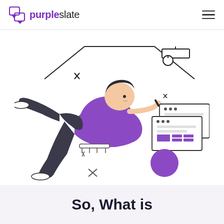purpleslate
[Figure (illustration): A person in a purple shirt, reclining and reaching out to interact with layered UI/document screens floating in front of them. Decorative geometric shapes, a circle, and sparkle elements surround the figure. The illustration is in black outline with purple accent colors.]
So, What is